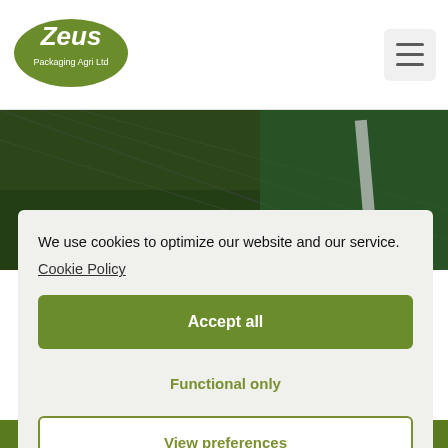[Figure (logo): Zeus Packaging Agri Ltd logo — white italic text on a green oval]
[Figure (photo): Background photo showing green shade netting on a chain-link fence with green foliage behind]
We use cookies to optimize our website and our service.
Cookie Policy
Accept all
Functional only
View preferences